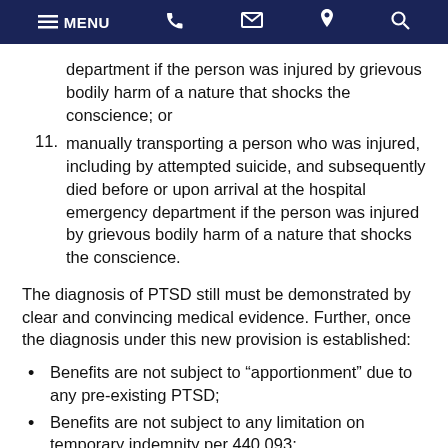MENU [phone] [mail] [location] [search]
department if the person was injured by grievous bodily harm of a nature that shocks the conscience; or
11. manually transporting a person who was injured, including by attempted suicide, and subsequently died before or upon arrival at the hospital emergency department if the person was injured by grievous bodily harm of a nature that shocks the conscience.
The diagnosis of PTSD still must be demonstrated by clear and convincing medical evidence. Further, once the diagnosis under this new provision is established:
Benefits are not subject to “apportionment” due to any pre-existing PTSD;
Benefits are not subject to any limitation on temporary indemnity per 440.093;
Benefits are not subject to the 1% limitation on